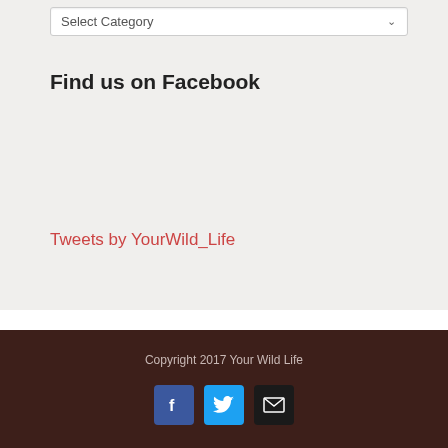Select Category
Find us on Facebook
Tweets by YourWild_Life
Copyright 2017 Your Wild Life